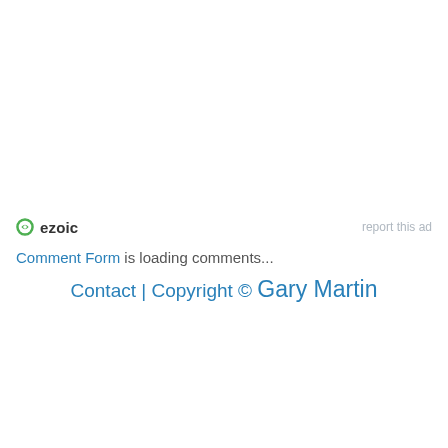[Figure (logo): Ezoic logo with green circular icon and bold 'ezoic' text, alongside 'report this ad' link in light gray]
Comment Form is loading comments...
Contact | Copyright © Gary Martin